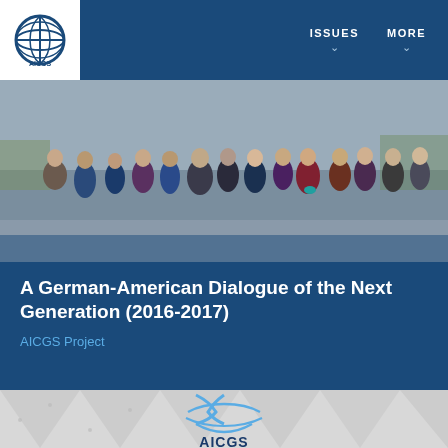AICGS | ISSUES | MORE
[Figure (photo): Group photo of approximately 15-20 people standing together outdoors, dressed in professional attire, posing for a group photograph.]
A German-American Dialogue of the Next Generation (2016-2017)
AICGS Project
[Figure (logo): AICGS logo on a grey geometric patterned background with triangles and dots. The logo shows the AICGS globe symbol in blue and white above the text AICGS in dark navy blue.]